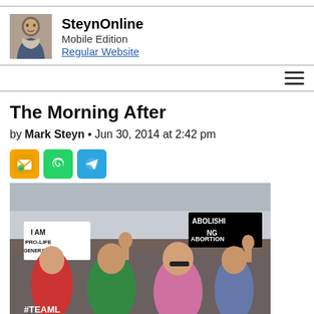SteynOnline Mobile Edition Regular Website
The Morning After
by Mark Steyn • Jun 30, 2014 at 2:42 pm
[Figure (photo): Protest photo showing crowd with signs reading 'I AM PRO-LIFE GENERATION' and 'ABOLISHING ABORTION', with people raising fists, hashtag #TEAML visible]
[Figure (other): Share icons: email (orange), WhatsApp (green), Telegram (blue)]